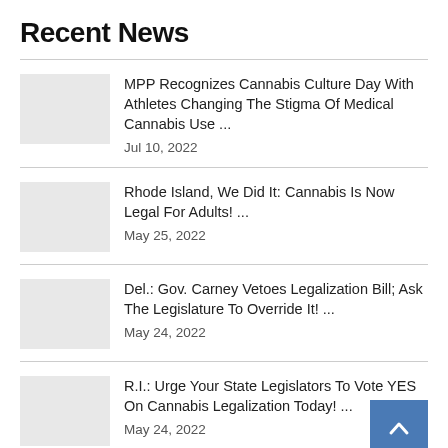Recent News
MPP Recognizes Cannabis Culture Day With Athletes Changing The Stigma Of Medical Cannabis Use ...
Jul 10, 2022
Rhode Island, We Did It: Cannabis Is Now Legal For Adults! ...
May 25, 2022
Del.: Gov. Carney Vetoes Legalization Bill; Ask The Legislature To Override It! ...
May 24, 2022
R.I.: Urge Your State Legislators To Vote YES On Cannabis Legalization Today! ...
May 24, 2022